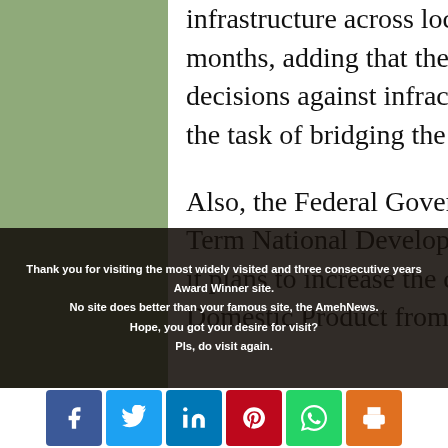infrastructure across local government areas in the next five months, adding that the NCC would take stringent regulatory decisions against infracos if they were unable to meet up to the task of bridging the infrastructure deficit.
Also, the Federal Government said in its 'Nigeria Medium-Term National Development Plan 2021-2025: Volume II' that it plans to increase the contribution of the ICT sector to Gross Domestic Product from 14 per cent to 30 per cent by 2025.
Thank you for visiting the most widely visited and three consecutive years Award Winner site. No site does better than your famous site, the AmehNews. Hope, you got your desire for visit? Pls, do visit again.
[Figure (other): Social media share icons: Facebook, Twitter, LinkedIn, Pinterest, WhatsApp, Print]